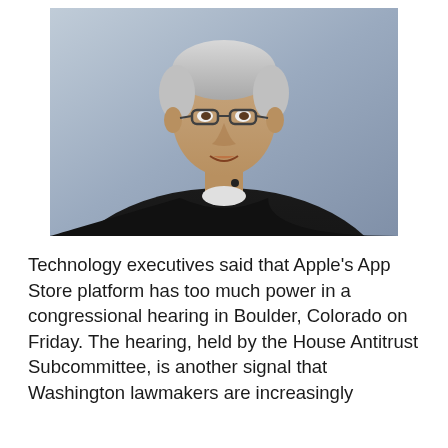[Figure (photo): Photo of a man with gray hair wearing glasses and a black sweater, speaking against a blue-gray background. Likely Tim Cook, Apple CEO.]
Technology executives said that Apple's App Store platform has too much power in a congressional hearing in Boulder, Colorado on Friday. The hearing, held by the House Antitrust Subcommittee, is another signal that Washington lawmakers are increasingly scrutinizing big technology companies.